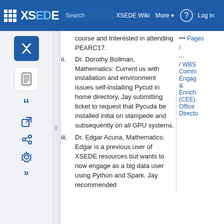XSEDE Wiki | Search | More | Log in
ii. Dr. Dorothy Bollman, Mathematics: Current us with installation and environment issues self-installing Pycud in home directory, Jay submitting ticket to request that Pycuda be installed initia on stampede and subsequently on all GPU systems.
iii. Dr. Edgar Acuna, Mathematics: Edgar is a previous user of XSEDE resources but wants to now engage as a big data user using Python and Spark. Jay recommended
course and Interested in attending PEARC17.
... Pages / ... / WBS Comm Engag & Enrich (CEE). Office Directo